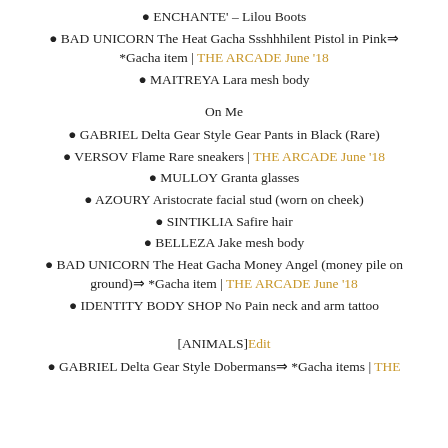ENCHANTE' – Lilou Boots
BAD UNICORN The Heat Gacha Ssshhhilent Pistol in Pink⇒ *Gacha item | THE ARCADE June '18
MAITREYA Lara mesh body
On Me
GABRIEL Delta Gear Style Gear Pants in Black (Rare)
VERSOV Flame Rare sneakers | THE ARCADE June '18
MULLOY Granta glasses
AZOURY Aristocrate facial stud (worn on cheek)
SINTIKLIA Safire hair
BELLEZA Jake mesh body
BAD UNICORN The Heat Gacha Money Angel (money pile on ground)⇒ *Gacha item | THE ARCADE June '18
IDENTITY BODY SHOP No Pain neck and arm tattoo
[ANIMALS]Edit
GABRIEL Delta Gear Style Dobermans⇒ *Gacha items | THE